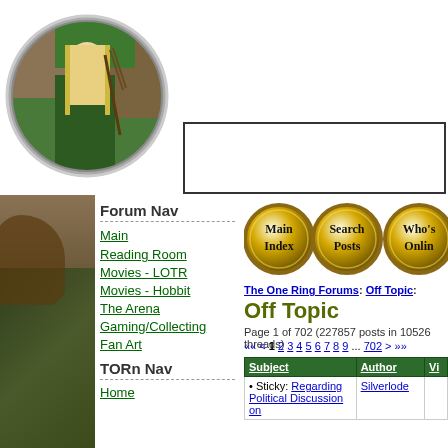[Figure (photo): Circular framed photo of Legolas character from Lord of the Rings, with long blonde hair, holding a bow, outdoors with green background]
[Figure (other): Advertisement box with black border, empty/white content]
Forum Nav
Main
Reading Room
Movies - LOTR
Movies - Hobbit
The Arena
Gaming/Collecting
Fan Art
TORn Nav
Home
[Figure (screenshot): Three golden circular navigation buttons labeled: Main Index, Search Posts, Who's Online (partially visible)]
The One Ring Forums: Off Topic:
Off Topic
Page 1 of 702 (227857 posts in 10526 threads)
<< < 1 2 3 4 5 6 7 8 9 ... 702 > >>
| Subject | Author | Vi |
| --- | --- | --- |
| Sticky: Regarding Political Discussion on | Silverlode |  |